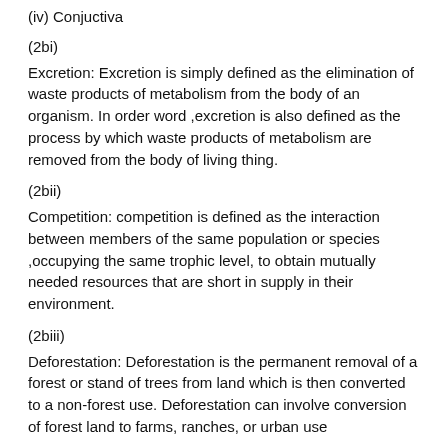(iv) Conjuctiva
(2bi)
Excretion: Excretion is simply defined as the elimination of waste products of metabolism from the body of an organism. In order word ,excretion is also defined as the process by which waste products of metabolism are removed from the body of living thing.
(2bii)
Competition: competition is defined as the interaction between members of the same population or species ,occupying the same trophic level, to obtain mutually needed resources that are short in supply in their environment.
(2biii)
Deforestation: Deforestation is the permanent removal of a forest or stand of trees from land which is then converted to a non-forest use. Deforestation can involve conversion of forest land to farms, ranches, or urban use